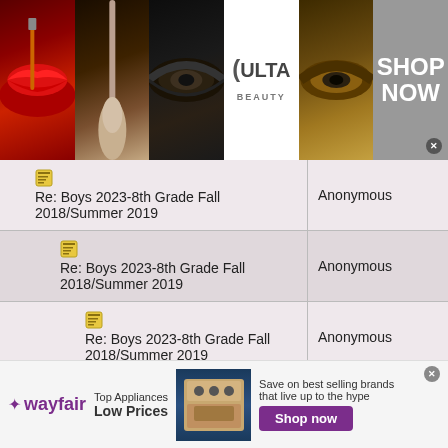[Figure (photo): Ulta Beauty advertisement banner showing makeup images (lips, brush, eyes), Ulta Beauty logo, and 'Shop Now' button]
| Thread | Author |
| --- | --- |
| Re: Boys 2023-8th Grade Fall 2018/Summer 2019 | Anonymous |
| Re: Boys 2023-8th Grade Fall 2018/Summer 2019 | Anonymous |
| Re: Boys 2023-8th Grade Fall 2018/Summer 2019 | Anonymous |
| Re: Boys 2023-8th Grade Fall 2018/Summer 2019 | Anonymous |
| Re: Boys 2023-8th Grade Fall 2018/Summer 2019 | Anonymous |
| Re: Boys 2023-8th Grade Fall 2018/Summer 2019 | Anonymous |
[Figure (photo): Wayfair advertisement showing top appliances at low prices with a stove image and Shop Now button]